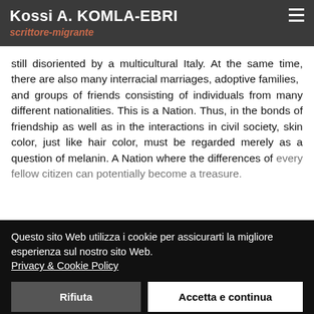Kossi A. KOMLA-EBRI
scritttore-migrante
still disoriented by a multicultural Italy. At the same time, there are also many interracial marriages, adoptive families,
and groups of friends consisting of individuals from many different nationalities. This is a Nation. Thus, in the bonds of friendship as well as in the interactions in civil society, skin color, just like hair color, must be regarded merely as a question of melanin. A Nation where the differences of every fellow citizen can potentially become a treasure.
Questo sito Web utilizza i cookie per assicurarti la migliore esperienza sul nostro sito Web.
Privacy & Cookie Policy
Rifiuta   Accetta e continua
Cookie settings:
☑Necessari